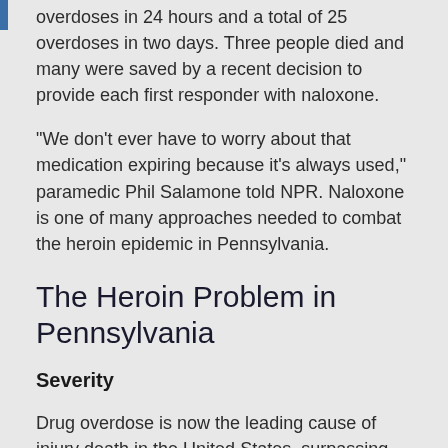overdoses in 24 hours and a total of 25 overdoses in two days. Three people died and many were saved by a recent decision to provide each first responder with naloxone.
“We don’t ever have to worry about that medication expiring because it’s always used,” paramedic Phil Salamone told NPR. Naloxone is one of many approaches needed to combat the heroin epidemic in Pennsylvania.
The Heroin Problem in Pennsylvania
Severity
Drug overdose is now the leading cause of injury death in the United States, surpassing gun deaths and car crashes. The total is concentrated in the Rust Belt, the Great Lakes region and the Northeast, according to The Washington Post.